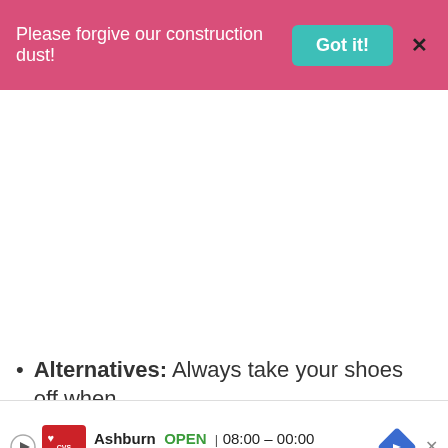Please forgive our construction dust! Got it! X
Alternatives: Always take your shoes off when
y... ead p... best
[Figure (other): CVS Pharmacy advertisement banner showing Ashburn location, OPEN 08:00-00:00, 43930 Farmwell Hunt Plaza, Ashburn, with navigation arrow icon]